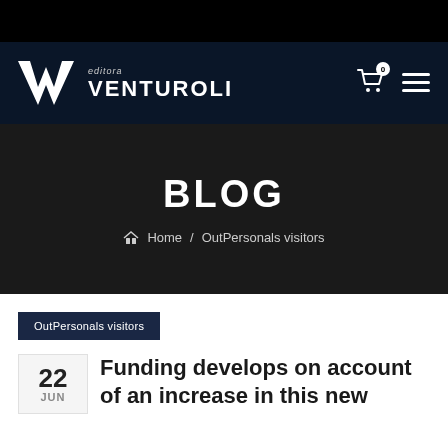[Figure (logo): Editora Venturoli logo with stylized W/V mark and text]
BLOG
Home / OutPersonals visitors
OutPersonals visitors
22 JUN
Funding develops on account of an increase in this new